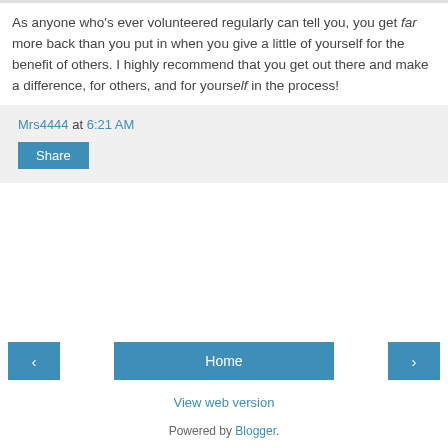As anyone who's ever volunteered regularly can tell you, you get far more back than you put in when you give a little of yourself for the benefit of others. I highly recommend that you get out there and make a difference, for others, and for yourself in the process!
Mrs4444 at 6:21 AM
Share
Home
View web version
Powered by Blogger.